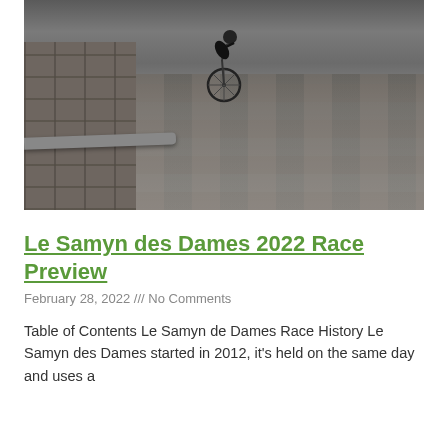[Figure (photo): Cyclist riding on wet cobblestone road with a stone wall curb on the left side, viewed from above/behind]
Le Samyn des Dames 2022 Race Preview
February 28, 2022 /// No Comments
Table of Contents Le Samyn de Dames Race History Le Samyn des Dames started in 2012, it's held on the same day and uses a